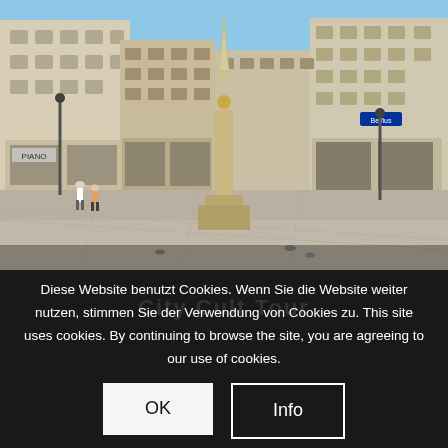[Figure (photo): Street-level photo of a Vienna plaza (Graben) with the Plague Column in the center, historic buildings on both sides, blue sky, a few pedestrians, pigeons on paving stones.]
Diese Website benutzt Cookies. Wenn Sie die Website weiter nutzen, stimmen Sie der Verwendung von Cookies zu. This site uses cookies. By continuing to browse the site, you are agreeing to our use of cookies.
OK
Info